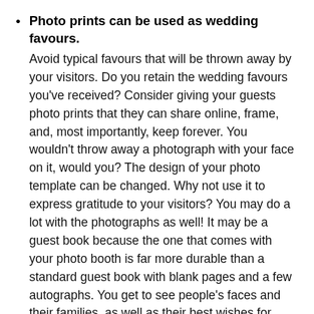Photo prints can be used as wedding favours. Avoid typical favours that will be thrown away by your visitors. Do you retain the wedding favours you've received? Consider giving your guests photo prints that they can share online, frame, and, most importantly, keep forever. You wouldn't throw away a photograph with your face on it, would you? The design of your photo template can be changed. Why not use it to express gratitude to your visitors? You may do a lot with the photographs as well! It may be a guest book because the one that comes with your photo booth is far more durable than a standard guest book with blank pages and a few autographs. You get to see people's faces and their families, as well as their best wishes for your future!
Your visitors will appreciate the photo opportunity. Some brides are concerned about the guests who